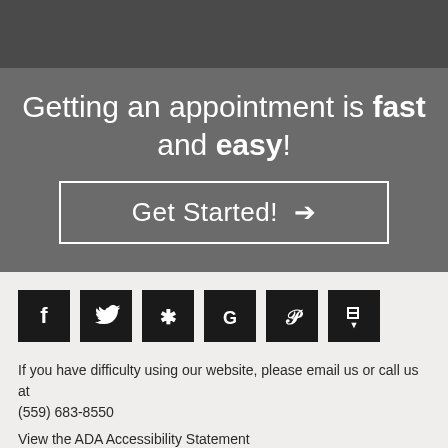[Figure (other): Dark gray top bar decorative element]
Getting an appointment is fast and easy!
Get Started! →
[Figure (other): Row of social media icons: Facebook, Twitter, Yelp, Google, Pinterest, Foursquare — white icons on black square backgrounds]
If you have difficulty using our website, please email us or call us at (559) 683-8550
View the ADA Accessibility Statement
Turn on ADA Views